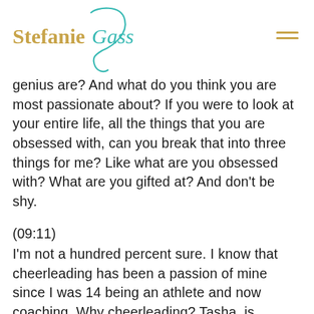[Figure (logo): Stefanie Gass logo with teal cursive swirl and gold text, plus hamburger menu icon on the right]
genius are? And what do you think you are most passionate about? If you were to look at your entire life, all the things that you are obsessed with, can you break that into three things for me? Like what are you obsessed with? What are you gifted at? And don't be shy.
(09:11)
I'm not a hundred percent sure. I know that cheerleading has been a passion of mine since I was 14 being an athlete and now coaching. Why cheerleading? Tasha, is